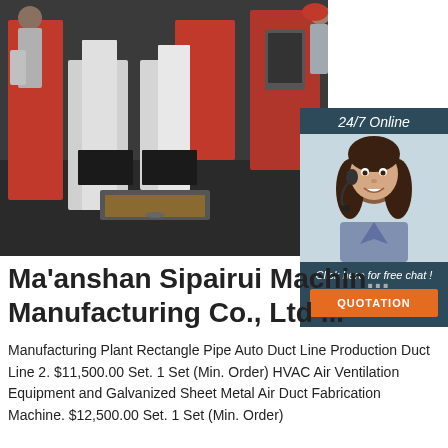[Figure (photo): Industrial workers operating large red and white metal duct fabrication machine in a factory setting]
[Figure (photo): 24/7 Online customer service representative with headset, smiling]
Ma'anshan Sipairui Machinery Manufacturing Co., Ltd ...
Manufacturing Plant Rectangle Pipe Auto Duct Line Production Duct Line 2. $11,500.00 Set. 1 Set (Min. Order) HVAC Air Ventilation Equipment and Galvanized Sheet Metal Air Duct Fabrication Machine. $12,500.00 Set. 1 Set (Min. Order)